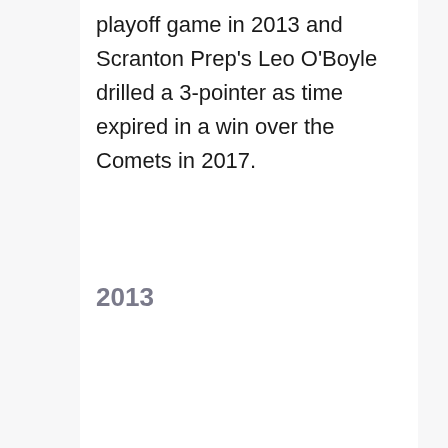playoff game in 2013 and Scranton Prep's Leo O'Boyle drilled a 3-pointer as time expired in a win over the Comets in 2017.
2013